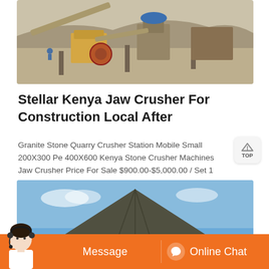[Figure (photo): Aerial view of a stone quarry crushing station with conveyor belts, jaw crushers, and heavy machinery in an open-pit quarry setting]
Stellar Kenya Jaw Crusher For Construction Local After
Granite Stone Quarry Crusher Station Mobile Small 200X300 Pe 400X600 Kenya Stone Crusher Machines Jaw Crusher Price For Sale $900.00-$5,000.00 / Set 1 Set (Min. Order)
[Figure (photo): Outdoor photo of a wooden structure or shed with a triangular roof against a blue sky]
Message
Online Chat